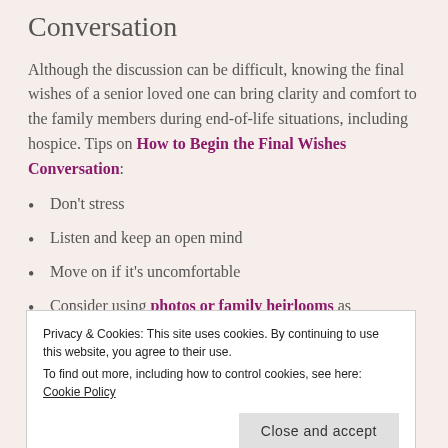Conversation
Although the discussion can be difficult, knowing the final wishes of a senior loved one can bring clarity and comfort to the family members during end-of-life situations, including hospice. Tips on How to Begin the Final Wishes Conversation:
Don't stress
Listen and keep an open mind
Move on if it's uncomfortable
Consider using photos or family heirlooms as conversation starters
Privacy & Cookies: This site uses cookies. By continuing to use this website, you agree to their use.
To find out more, including how to control cookies, see here: Cookie Policy
make healthcare decisions for her father knowing